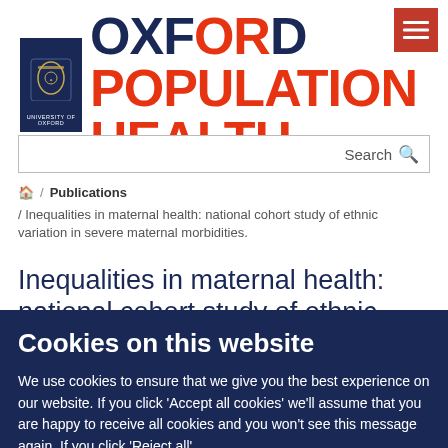[Figure (logo): Oxford Population Health logo with University of Oxford shield and bold text]
Search
/ Publications / Inequalities in maternal health: national cohort study of ethnic variation in severe maternal morbidities.
Inequalities in maternal health: national cohort study of ethnic
Cookies on this website
We use cookies to ensure that we give you the best experience on our website. If you click 'Accept all cookies' we'll assume that you are happy to receive all cookies and you won't see this message again. If you click 'Reject all'